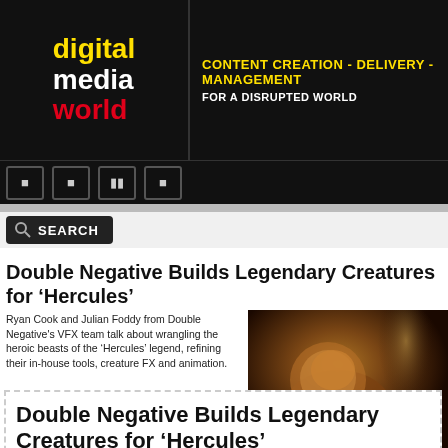digital media world — CONTENT CREATION - DELIVERY - MANAGEMENT FOR A DISRUPTED WORLD
Double Negative Builds Legendary Creatures for 'Hercules'
Ryan Cook and Julian Foddy from Double Negative's VFX team talk about wrangling the heroic beasts of the 'Hercules' legend, refining their in-house tools, creature FX and animation.
[Figure (photo): A lion creature from Hercules with dramatic lighting, golden fur, in a dark scene]
Double Negative Builds Legendary Creatures for 'Hercules'